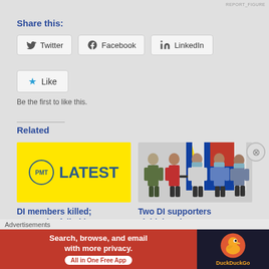Share this:
Twitter  Facebook  LinkedIn
Like
Be the first to like this.
Related
[Figure (illustration): PMT Latest logo on yellow background with circular PMT emblem]
DI members killed; terror plot failed in...
[Figure (photo): Five people wearing masks standing in front of Philippine flags, one person holding a rifle]
Two DI supporters yield, hand over...
Advertisements
[Figure (infographic): DuckDuckGo advertisement banner: Search, browse, and email with more privacy. All in One Free App. Orange background with DuckDuckGo duck logo on dark right panel.]